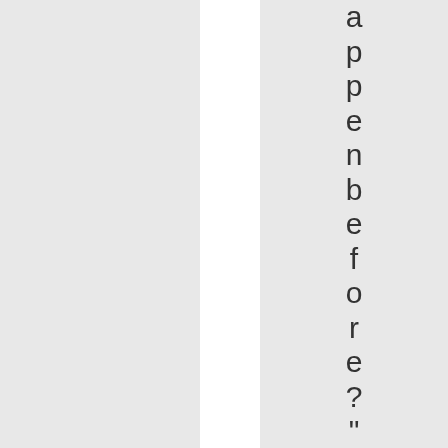appenbefore?"
[Figure (other): Five empty star rating icons displayed horizontally]
Rating: 0.0/5 (0 vo